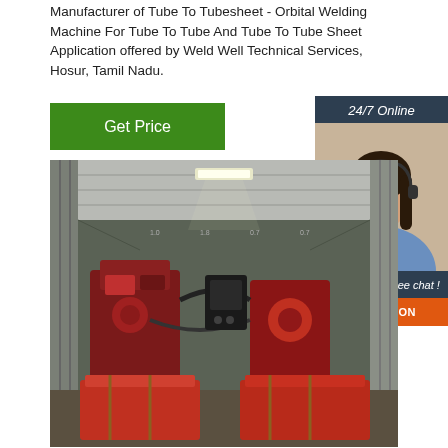Manufacturer of Tube To Tubesheet - Orbital Welding Machine For Tube To Tube And Tube To Tube Sheet Application offered by Weld Well Technical Services, Hosur, Tamil Nadu.
[Figure (screenshot): Green 'Get Price' button]
[Figure (photo): Woman with headset, 24/7 Online chat support sidebar with 'Click here for free chat!' text and orange QUOTATION button]
[Figure (photo): Photo of orbital welding machine and equipment inside a shipping container]